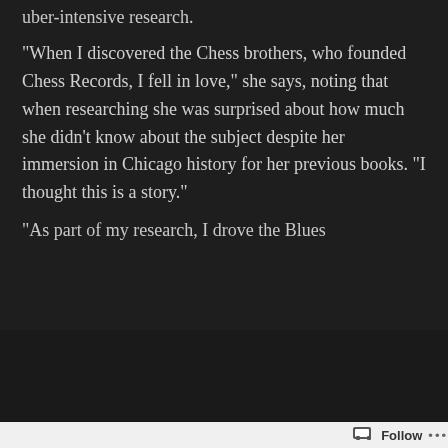uber-intensive research.
“When I discovered the Chess brothers, who founded Chess Records, I fell in love,” she says, noting that when researching she was surprised about how much she didn’t know about the subject despite her immersion in Chicago history for her previous books. “I thought this is a story.”
“As part of my research, I drove the Blues
[Figure (screenshot): Automattic advertisement bar with close button]
Follow ...